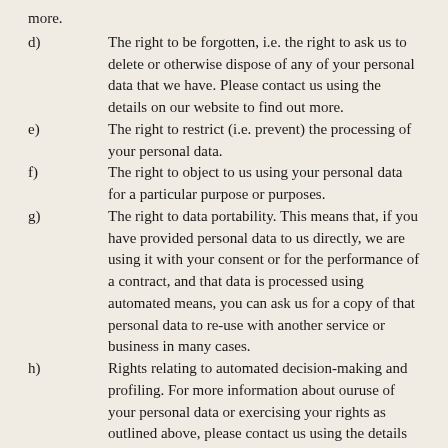more.
d)	The right to be forgotten, i.e. the right to ask us to delete or otherwise dispose of any of your personal data that we have. Please contact us using the details on our website to find out more.
e)	The right to restrict (i.e. prevent) the processing of your personal data.
f)	The right to object to us using your personal data for a particular purpose or purposes.
g)	The right to data portability. This means that, if you have provided personal data to us directly, we are using it with your consent or for the performance of a contract, and that data is processed using automated means, you can ask us for a copy of that personal data to re-use with another service or business in many cases.
h)	Rights relating to automated decision-making and profiling. For more information about ouruse of your personal data or exercising your rights as outlined above, please contact us using the details on our website. Further